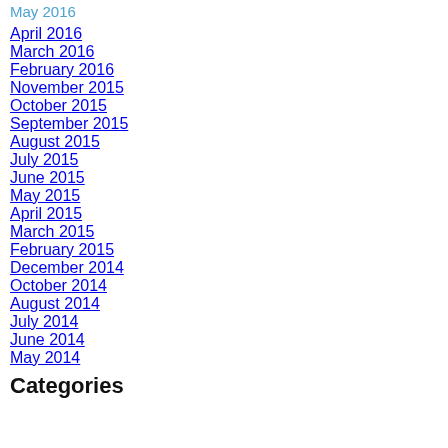May 2016
April 2016
March 2016
February 2016
November 2015
October 2015
September 2015
August 2015
July 2015
June 2015
May 2015
April 2015
March 2015
February 2015
December 2014
October 2014
August 2014
July 2014
June 2014
May 2014
Categories